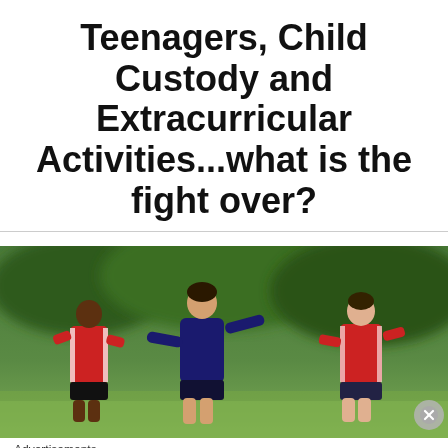Teenagers, Child Custody and Extracurricular Activities...what is the fight over?
[Figure (photo): Three teenage boys playing soccer on a field; one in navy blue, two in red uniforms, running on grass with blurred green background.]
Advertisements
[Figure (infographic): DuckDuckGo advertisement banner: orange section with text 'Search, browse, and email with more privacy. All in One Free App' and dark section with DuckDuckGo logo and name.]